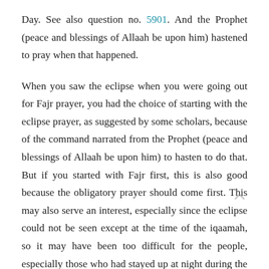Day. See also question no. 5901. And the Prophet (peace and blessings of Allaah be upon him) hastened to pray when that happened.
When you saw the eclipse when you were going out for Fajr prayer, you had the choice of starting with the eclipse prayer, as suggested by some scholars, because of the command narrated from the Prophet (peace and blessings of Allaah be upon him) to hasten to do that. But if you started with Fajr first, this is also good because the obligatory prayer should come first. This may also serve an interest, especially since the eclipse could not be seen except at the time of the iqaamah, so it may have been too difficult for the people, especially those who had stayed up at night during the blessed month, if the